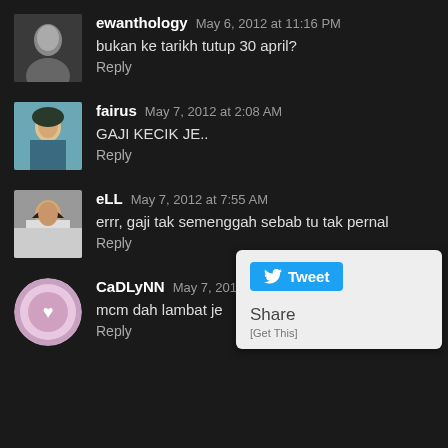[Figure (photo): Avatar of ewanthology - dark silhouette person]
ewanthology May 6, 2012 at 11:16 PM
bukan ke tarikh tutup 30 april?
Reply
[Figure (photo): Avatar of fairus - person in teal/blue background]
fairus May 7, 2012 at 2:08 AM
GAJI KECIK JE..
Reply
[Figure (photo): Avatar of eLL - woman in white hijab]
eLL May 7, 2012 at 7:55 AM
errr, gaji tak semenggah sebab tu tak pernal
Reply
[Figure (screenshot): Tweet/Share widget overlay with Tweet button and Share text]
[Figure (photo): Avatar of CaDLyNN - decorative circular logo]
CaDLyNN May 7, 2012 at 8:49 AM
mcm dah lambat je
Reply